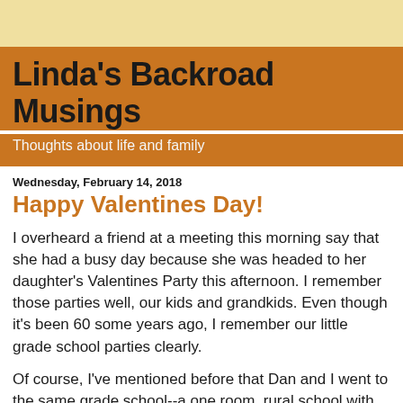Linda's Backroad Musings
Thoughts about life and family
Wednesday, February 14, 2018
Happy Valentines Day!
I overheard a friend at a meeting this morning say that she had a busy day because she was headed to her daughter's Valentines Party this afternoon.  I remember those parties well, our kids and grandkids.  Even though it's been 60 some years ago, I remember our little grade school parties clearly.
Of course, I've mentioned before that Dan and I went to the same grade school--a one room, rural school with 12 to 18 kids and one teacher.  Valentines Day was always fun as was any celebration.  With so few kids, we celebrated everything.  The poor teacher probably needed the break.